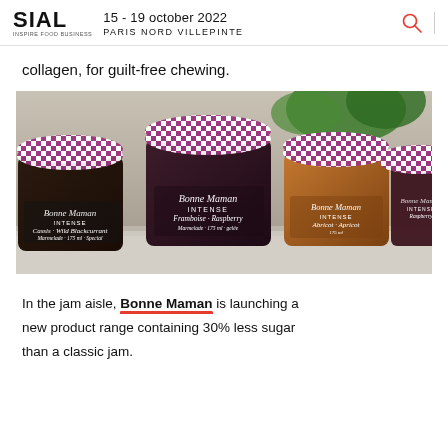SIAL INSPIRE FOOD BUSINESS | 15 - 19 october 2022 | PARIS NORD VILLEPINTE
collagen, for guilt-free chewing.
[Figure (photo): Multiple jars of Bonne Maman INTENSE jam in various flavors (Framboise Raspberry, Cassis Wild Blackcurrant, Abricot Apricot) with signature purple and white checkered lids, arranged on a light surface with green plants in the background.]
In the jam aisle, Bonne Maman is launching a new product range containing 30% less sugar than a classic jam.